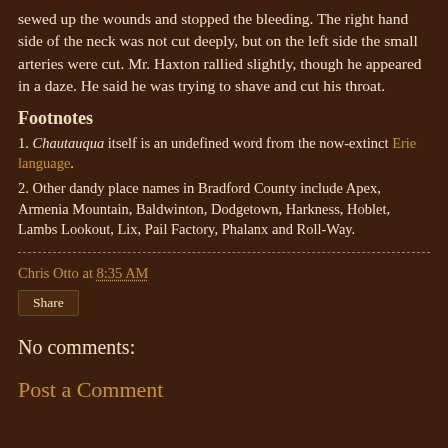sewed up the wounds and stopped the bleeding. The right hand side of the neck was not cut deeply, but on the left side the small arteries were cut. Mr. Haxton rallied slightly, though he appeared in a daze. He said he was trying to shave and cut his throat.
Footnotes
1. Chautauqua itself is an undefined word from the now-extinct Erie language.
2. Other dandy place names in Bradford County include Apex, Armenia Mountain, Baldwinton, Dodgetown, Harkness, Hoblet, Lambs Lookout, Lix, Pail Factory, Phalanx and Roll-Way.
Chris Otto at 8:35 AM
Share
No comments:
Post a Comment